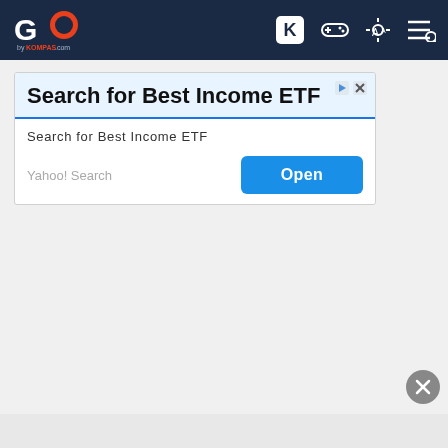[Figure (screenshot): GO by KOMPAS.com navigation bar with logo and icons for K, gamepad, brightness, and menu]
[Figure (screenshot): Advertisement banner: Search for Best Income ETF — Yahoo! Search with Open button]